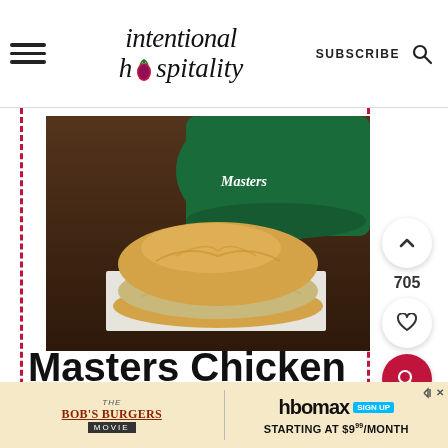intentional hospitality | SUBSCRIBE
[Figure (photo): A chicken salad sandwich on a soft roll, served on white paper, with a green Masters baseball cap in the background on a wooden surface.]
Masters Chicken Salad Sandwich
[Figure (infographic): Advertisement banner: The Bob's Burgers Movie on the left, HBO Max Sign Up Starting at $9.99/month on the right.]